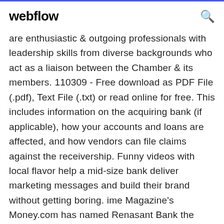webflow
are enthusiastic & outgoing professionals with leadership skills from diverse backgrounds who act as a liaison between the Chamber & its members. 110309 - Free download as PDF File (.pdf), Text File (.txt) or read online for free. This includes information on the acquiring bank (if applicable), how your accounts and loans are affected, and how vendors can file claims against the receivership. Funny videos with local flavor help a mid-size bank deliver marketing messages and build their brand without getting boring. ime Magazine's Money.com has named Renasant Bank the Best Bank in the South. We always knew we were the best, but now others are starting to see it too.